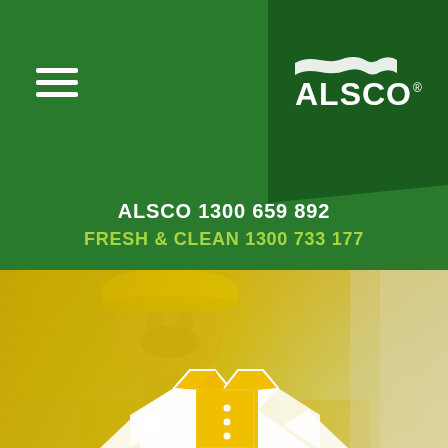[Figure (logo): ALSCO company logo in white on dark green background panel, top right]
ALSCO 1300 659 892
FRESH & CLEAN 1300 733 177
[Figure (photo): Worker wearing yellow hard hat smiling, with yellow tint overlay and workwear/uniform icon at bottom]